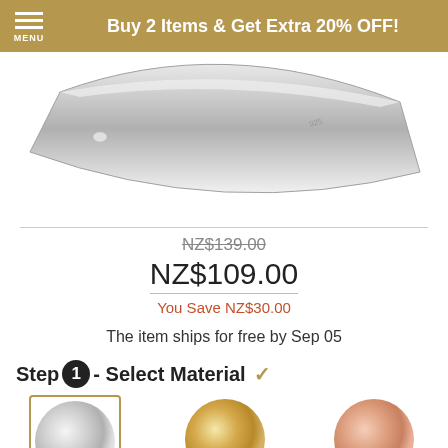Buy 2 Items & Get Extra 20% OFF!
[Figure (photo): Close-up photo of a silver ring on a white background]
NZ$139.00 (strikethrough original price)
NZ$109.00 (sale price)
You Save NZ$30.00
The item ships for free by Sep 05
Step 1 - Select Material ✓
[Figure (illustration): Three material color swatches: silver, yellow gold, rose gold]
316 Stainless  |  18k Gold  |  18k Rose Gold (partial, cut off)